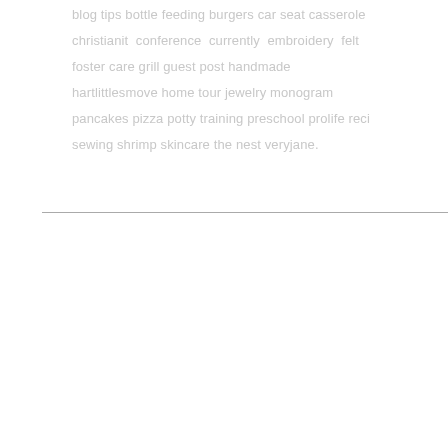blog tips bottle feeding burgers car seat casserole christianit conference currently embroidery felt foster care grill guest post handmade hartlittlesmove home tour jewelry monogram pancakes pizza potty training preschool prolife reci sewing shrimp skincare the nest veryjane.